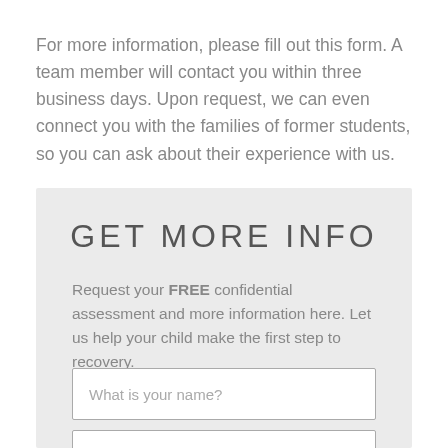For more information, please fill out this form. A team member will contact you within three business days. Upon request, we can even connect you with the families of former students, so you can ask about their experience with us.
GET MORE INFO
Request your FREE confidential assessment and more information here. Let us help your child make the first step to recovery.
What is your name?
What is your phone number?